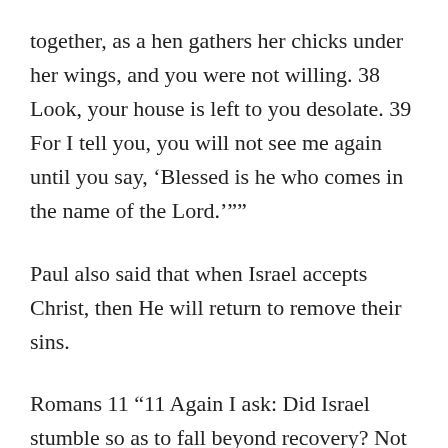together, as a hen gathers her chicks under her wings, and you were not willing. 38 Look, your house is left to you desolate. 39 For I tell you, you will not see me again until you say, ‘Blessed is he who comes in the name of the Lord.’””
Paul also said that when Israel accepts Christ, then He will return to remove their sins.
Romans 11 “11 Again I ask: Did Israel stumble so as to fall beyond recovery? Not at all! Rather, because of their transgression, salvation has come to the Gentiles to make Israel envious. 12 But if their transgression means riches for the